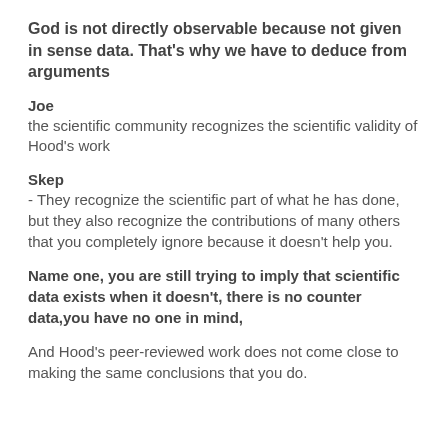God is not directly observable because not given in sense data. That's why we have to deduce from arguments
Joe
the scientific community recognizes the scientific validity of Hood's work
Skep
- They recognize the scientific part of what he has done, but they also recognize the contributions of many others that you completely ignore because it doesn't help you.
Name one, you are still trying to imply that scientific data exists when it doesn't, there is no counter data,you have no one in mind,
And Hood's peer-reviewed work does not come close to making the same conclusions that you do.